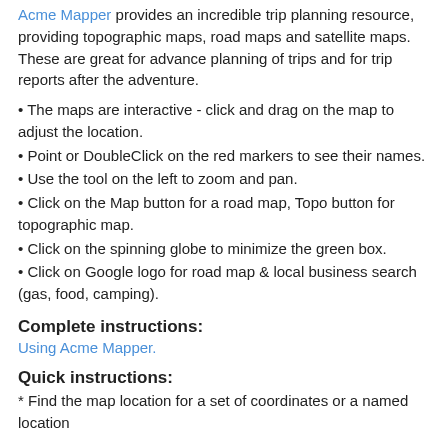Acme Mapper provides an incredible trip planning resource, providing topographic maps, road maps and satellite maps. These are great for advance planning of trips and for trip reports after the adventure.
The maps are interactive - click and drag on the map to adjust the location.
Point or DoubleClick on the red markers to see their names.
Use the tool on the left to zoom and pan.
Click on the Map button for a road map, Topo button for topographic map.
Click on the spinning globe to minimize the green box.
Click on Google logo for road map & local business search (gas, food, camping).
Complete instructions:
Using Acme Mapper.
Quick instructions:
* Find the map location for a set of coordinates or a named location